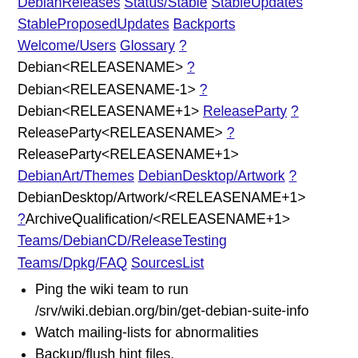DebianReleases Status/Stable StableUpdates StableProposedUpdates Backports Welcome/Users Glossary ? Debian<RELEASENAME> ? Debian<RELEASENAME-1> ? Debian<RELEASENAME+1> ReleaseParty ? ReleaseParty<RELEASENAME> ? ReleaseParty<RELEASENAME+1> DebianArt/Themes DebianDesktop/Artwork ? DebianDesktop/Artwork/<RELEASENAME+1> ?ArchiveQualification/<RELEASENAME+1> Teams/DebianCD/ReleaseTesting Teams/Dpkg/FAQ SourcesList
Ping the wiki team to run /srv/wiki.debian.org/bin/get-debian-suite-info
Watch mailing-lists for abnormalities
Backup/flush hint files.
Update release.debian.org/{oldoldstable,oldstable,stable,test